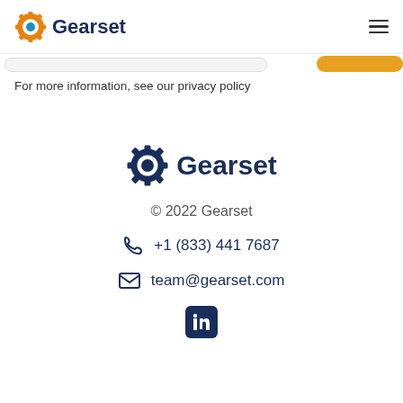Gearset
For more information, see our privacy policy
[Figure (logo): Gearset logo centered in footer area, with gear icon and navy blue text]
© 2022 Gearset
+1 (833) 441 7687
team@gearset.com
[Figure (logo): LinkedIn icon in a navy blue rounded square]